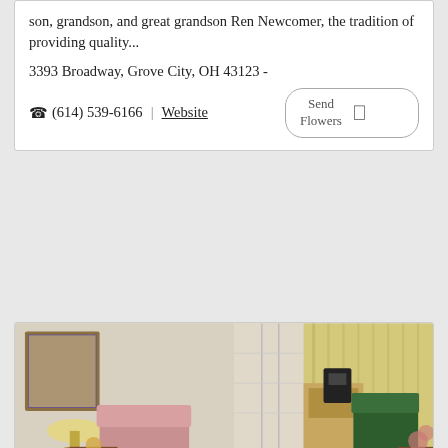son, grandson, and great grandson Ren Newcomer, the tradition of providing quality...
3393 Broadway, Grove City, OH 43123 -
☎ (614) 539-6166 | Website
[Figure (photo): Interior room of a funeral chapel showing two chairs, a small kitchen/bar area with a coffee maker, wooden cabinets, and floor-length curtains on the right side.]
Woodyard East Chapel
O. R. Woodyard Co. Funeral and Cremation Service will guide your family through what is often a challenging maze of decisions and details. While we help you